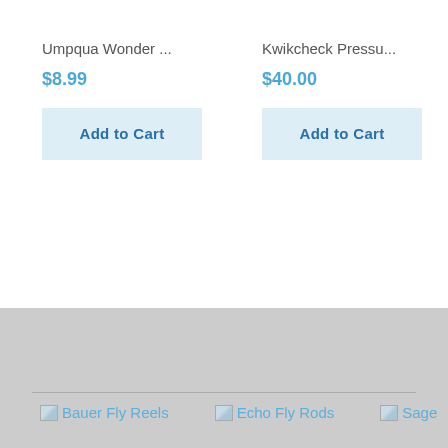Umpqua Wonder ...
$8.99
Add to Cart
Kwikcheck Pressu...
$40.00
Add to Cart
[Figure (other): Broken image icons with text links for Bauer Fly Reels, Echo Fly Rods, and Sage brand logos in the footer area]
Bauer Fly Reels  Echo Fly Rods  Sage